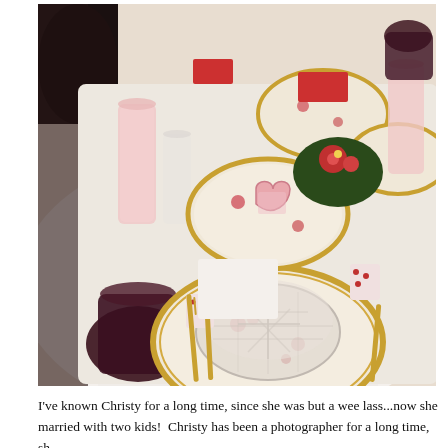[Figure (photo): A Valentine's Day table setting with rose-patterned china plates with gold rims, red napkins, crystal bowls, gold cutlery, dark purple/ruby drinking glasses, pink lemonade in tall glasses, polka-dot paper cups, a heart-shaped place card, and a floral centerpiece with red flowers on a white tablecloth.]
I've known Christy for a long time, since she was but a wee lass...now she married with two kids!  Christy has been a photographer for a long time, sh